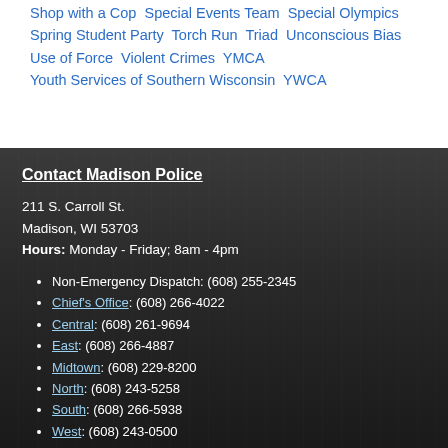Shop with a Cop  Special Events Team  Special Olympics  Spring Student Party  Torch Run  Triad  Unconscious Bias  Use of Force  Violent Crimes  YMCA  Youth Services of Southern Wisconsin  YWCA
Contact Madison Police
211 S. Carroll St.
Madison, WI 53703
Hours: Monday - Friday; 8am - 4pm
Non-Emergency Dispatch: (608) 255-2345
Chief's Office: (608) 266-4022
Central: (608) 261-9694
East: (608) 266-4887
Midtown: (608) 229-8200
North: (608) 243-5258
South: (608) 266-5938
West: (608) 243-0500
WI Relay Service